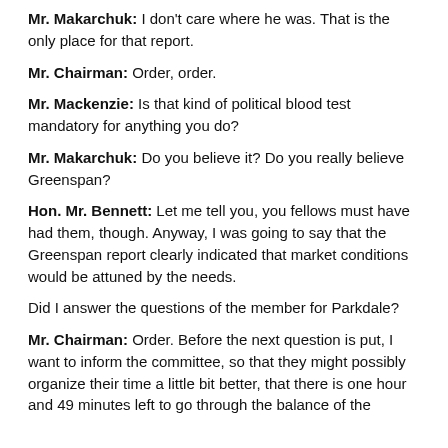Mr. Makarchuk: I don't care where he was. That is the only place for that report.
Mr. Chairman: Order, order.
Mr. Mackenzie: Is that kind of political blood test mandatory for anything you do?
Mr. Makarchuk: Do you believe it? Do you really believe Greenspan?
Hon. Mr. Bennett: Let me tell you, you fellows must have had them, though. Anyway, I was going to say that the Greenspan report clearly indicated that market conditions would be attuned by the needs.
Did I answer the questions of the member for Parkdale?
Mr. Chairman: Order. Before the next question is put, I want to inform the committee, so that they might possibly organize their time a little bit better, that there is one hour and 49 minutes left to go through the balance of the